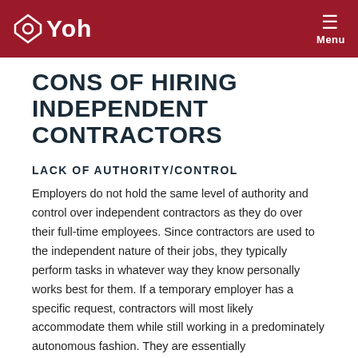Yoh — Menu
CONS OF HIRING INDEPENDENT CONTRACTORS
LACK OF AUTHORITY/CONTROL
Employers do not hold the same level of authority and control over independent contractors as they do over their full-time employees. Since contractors are used to the independent nature of their jobs, they typically perform tasks in whatever way they know personally works best for them. If a temporary employer has a specific request, contractors will most likely accommodate them while still working in a predominately autonomous fashion. They are essentially